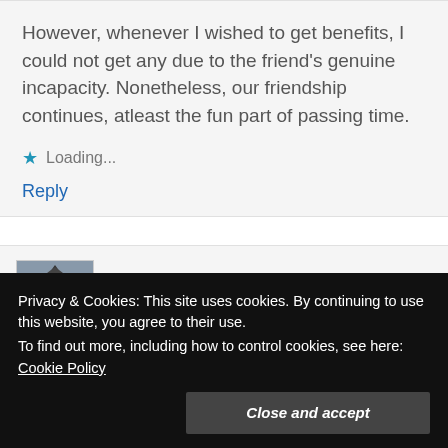However, whenever I wished to get benefits, I could not get any due to the friend's genuine incapacity. Nonetheless, our friendship continues, atleast the fun part of passing time.
Loading...
Reply
Betul Erbasi  April 12, 2021 at 4:33 pm
Privacy & Cookies: This site uses cookies. By continuing to use this website, you agree to their use.
To find out more, including how to control cookies, see here: Cookie Policy
Close and accept